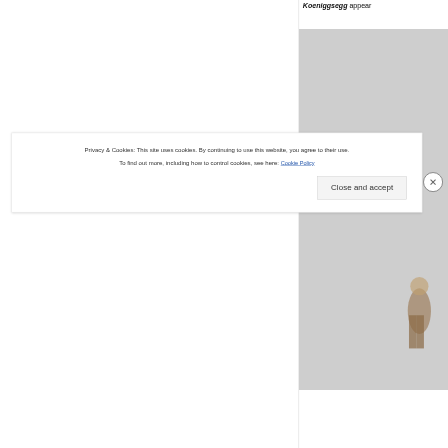Koeniggsegg appear
[Figure (photo): Partial view of a light grey background with what appears to be a figure or sculpture at the bottom right]
Privacy & Cookies: This site uses cookies. By continuing to use this website, you agree to their use.
To find out more, including how to control cookies, see here: Cookie Policy
Close and accept